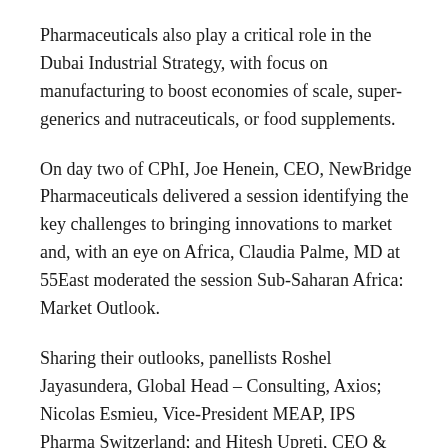Pharmaceuticals also play a critical role in the Dubai Industrial Strategy, with focus on manufacturing to boost economies of scale, super-generics and nutraceuticals, or food supplements.
On day two of CPhI, Joe Henein, CEO, NewBridge Pharmaceuticals delivered a session identifying the key challenges to bringing innovations to market and, with an eye on Africa, Claudia Palme, MD at 55East moderated the session Sub-Saharan Africa: Market Outlook.
Sharing their outlooks, panellists Roshel Jayasundera, Global Head – Consulting, Axios; Nicolas Esmieu, Vice-President MEAP, IPS Pharma Switzerland; and Hitesh Upreti, CEO & Managing Director, Zenufa Laboratories (Tanzania) Limited, analysed the challenges and opportunities at the current time.
Additionally, themed elements of the show highlighted